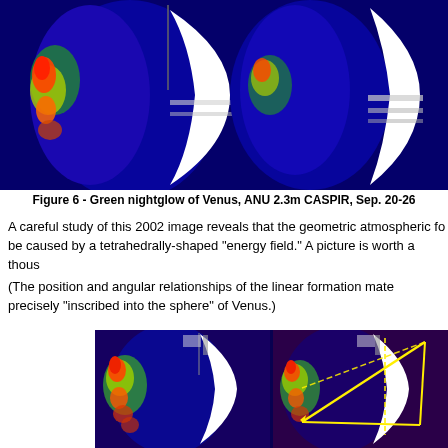[Figure (photo): False-color infrared images of Venus green nightglow, showing crescent/limb structure with bright red/orange emission regions on dark blue background. ANU 2.3m CASPIR instrument, Sep. 20-26.]
Figure 6 - Green nightglow of Venus, ANU 2.3m CASPIR, Sep. 20-26
A careful study of this 2002 image reveals that the geometric atmospheric fo be caused by a tetrahedrally-shaped "energy field." A picture is worth a thous
(The position and angular relationships of the linear formation mate precisely "inscribed into the sphere" of Venus.)
[Figure (photo): False-color images of Venus green nightglow (L) and the same image with Tetrahedral Geometry overlay showing yellow triangle lines indicating the tetrahedral inscribed geometry.]
Figure 7 - Green nightglow of Venus (L) and Tetrahedral Geomet